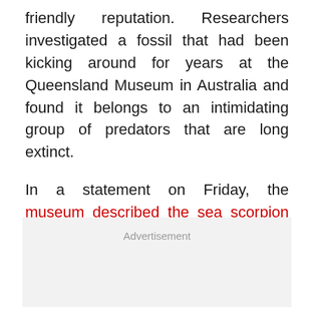friendly reputation. Researchers investigated a fossil that had been kicking around for years at the Queensland Museum in Australia and found it belongs to an intimidating group of predators that are long extinct.
In a statement on Friday, the museum described the sea scorpion as a "massive monster" that likely topped 3 feet (1 meter) in length. It lived in lakes or rivers around what is now the Australian town of Theodore. It's the first sea scorpion fossil to be identified in Queensland.
[Figure (other): Advertisement placeholder box]